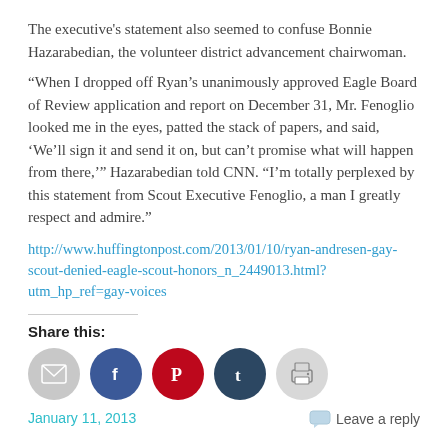The executive's statement also seemed to confuse Bonnie Hazarabedian, the volunteer district advancement chairwoman.
“When I dropped off Ryan’s unanimously approved Eagle Board of Review application and report on December 31, Mr. Fenoglio looked me in the eyes, patted the stack of papers, and said, ‘We’ll sign it and send it on, but can’t promise what will happen from there,’” Hazarabedian told CNN. “I’m totally perplexed by this statement from Scout Executive Fenoglio, a man I greatly respect and admire.”
http://www.huffingtonpost.com/2013/01/10/ryan-andresen-gay-scout-denied-eagle-scout-honors_n_2449013.html?utm_hp_ref=gay-voices
Share this:
[Figure (infographic): Social sharing buttons: email (gray circle), Facebook (dark blue circle), Pinterest (red circle), Tumblr (dark teal circle), Print (light gray circle)]
January 11, 2013
Leave a reply